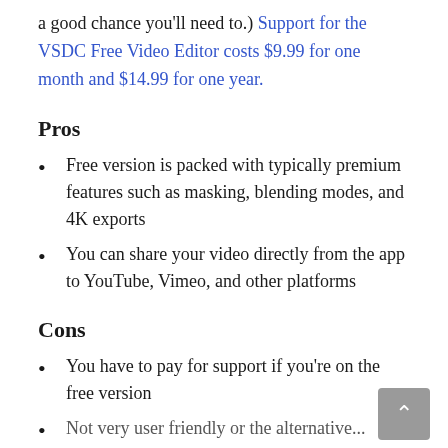a good chance you'll need to.) Support for the VSDC Free Video Editor costs $9.99 for one month and $14.99 for one year.
Pros
Free version is packed with typically premium features such as masking, blending modes, and 4K exports
You can share your video directly from the app to YouTube, Vimeo, and other platforms
Cons
You have to pay for support if you're on the free version
Not very user friendly or the alternative...